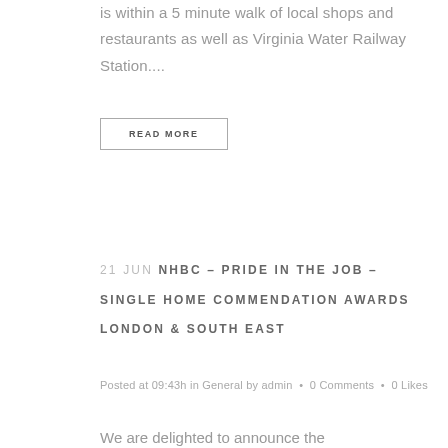is within a 5 minute walk of local shops and restaurants as well as Virginia Water Railway Station....
READ MORE
21 JUN NHBC – PRIDE IN THE JOB – SINGLE HOME COMMENDATION AWARDS LONDON & SOUTH EAST
Posted at 09:43h in General by admin • 0 Comments • 0 Likes
We are delighted to announce the